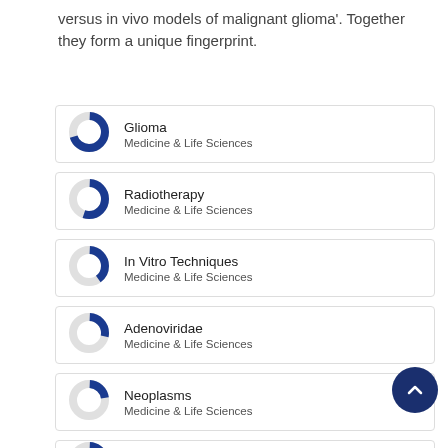versus in vivo models of malignant glioma'. Together they form a unique fingerprint.
[Figure (donut-chart): Donut chart showing approximately 70% fill in dark blue]
[Figure (donut-chart): Donut chart showing approximately 55% fill in dark blue]
[Figure (donut-chart): Donut chart showing approximately 40% fill in dark blue]
[Figure (donut-chart): Donut chart showing approximately 30% fill in dark blue]
[Figure (donut-chart): Donut chart showing approximately 25% fill in dark blue]
[Figure (donut-chart): Donut chart showing approximately 22% fill in dark blue]